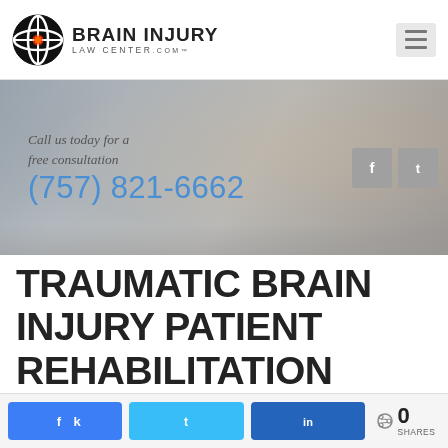[Figure (logo): Brain Injury Law Center logo with circular icon and hamburger menu button]
[Figure (photo): Website banner with brain scan background image, call-to-action text 'Call us today for a free consultation (757) 821-6662' and social media icons]
TRAUMATIC BRAIN INJURY PATIENT REHABILITATION
[Figure (infographic): Social share bar with Facebook, Twitter, LinkedIn buttons and 0 SHARES count]